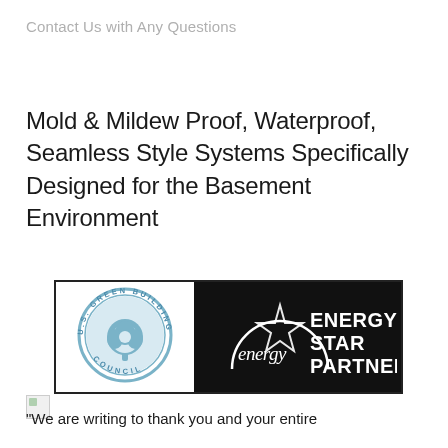Contact Us with Any Questions
Mold & Mildew Proof, Waterproof, Seamless Style Systems Specifically Designed for the Basement Environment
[Figure (logo): U.S. Green Building Council circular badge logo (light blue/grey) alongside Energy Star Partner badge (white on black background with star graphic and script 'energy' text)]
"We are writing to thank you and your entire